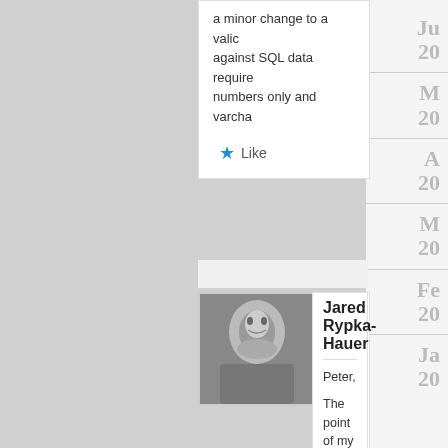a minor change to a valid query against SQL data require numbers only and varchar
Like
[Figure (photo): Black and white portrait photo of a person]
Jared Rypka-Hauer
Peter,
The point of my idea, I ca the data from the Event d at all based on the data t
I don't want to handle it, to make sure that form.fic BEFORE I do anything w my event's inputs is right application. To my way o websites where the raw h